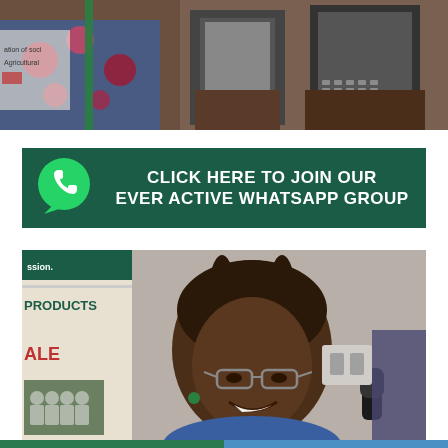[Figure (photo): Person wearing colorful floral dress holding mobile phones, with a poster in the background mentioning 'ation of soci...' and 'agricultural...']
[Figure (infographic): Dark green WhatsApp promotional banner with WhatsApp logo icon and text: CLICK HERE TO JOIN OUR EVER ACTIVE WHATSAPP GROUP]
[Figure (photo): Woman with glasses and braided hair smiling during an interview, with a microphone held toward her. Background shows a banner with text 'ssion.', 'PRODUCTS', 'ALE' and a small group photo.]